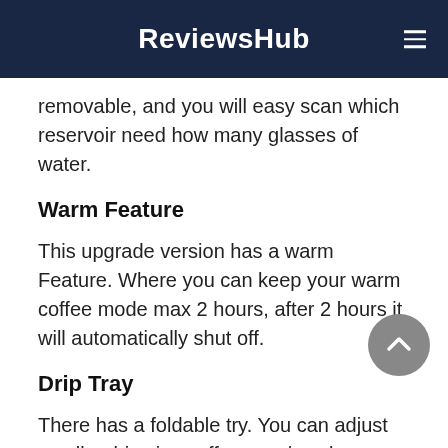ReviewsHub
removable, and you will easy scan which reservoir need how many glasses of water.
Warm Feature
This upgrade version has a warm Feature. Where you can keep your warm coffee mode max 2 hours, after 2 hours it will automatically shut off.
Drip Tray
There has a foldable try. You can adjust small or big size coffee mug/cup by reverse this try.
Bonus Gold-tone Filter